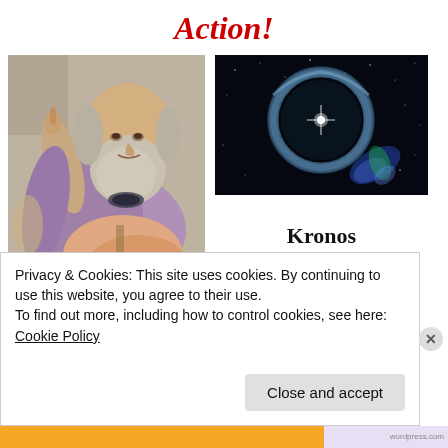Action!
[Figure (photo): Painting of Plato from The School of Athens by Raphael, showing an elderly bearded man in purple and pink robes with one finger pointing upward]
[Figure (photo): Astronomical image of a bright star or supernova remnant showing a glowing ring or bubble shape against a dark star field, with colorful nebula visible]
Kronos
Kairos
Plato
the ... B.C.
Privacy & Cookies: This site uses cookies. By continuing to use this website, you agree to their use.
To find out more, including how to control cookies, see here: Cookie Policy